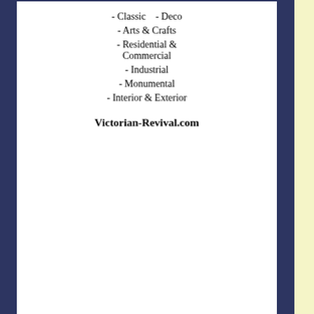- Classic   - Deco
- Arts & Crafts
- Residential & Commercial
- Industrial
- Monumental
- Interior & Exterior
Victorian-Revival.com
[Figure (photo): Advertisement for Historic Preservation & Restoration program at Clatsop Community College in Astoria, OR. Shows green bold text 'Historic Preservation & Restoration', subtitle 'Study historic building trades with hands-on community projects', photo of historic houses in Astoria Oregon, and Clatsop Community logo at bottom.]